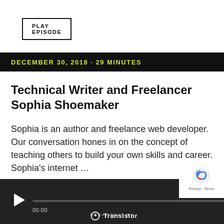PLAY EPISODE
DECEMBER 30, 2018 · 29 MINUTES
Technical Writer and Freelancer Sophia Shoemaker
Sophia is an author and freelance web developer. Our conversation hones in on the concept of teaching others to build your own skills and career. Sophia's internet …
PLAY EPISODE
[Figure (screenshot): Audio player bar with play button, progress bar, time code 00:00, Transistor broadcast label, and reCAPTCHA badge]